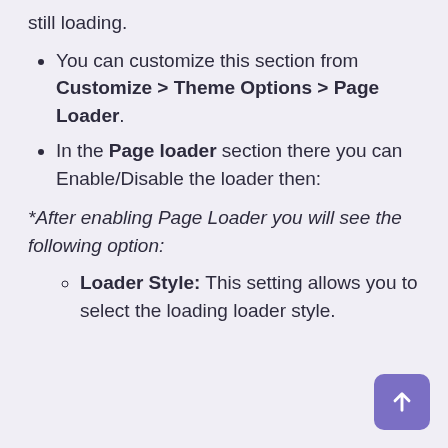still loading.
You can customize this section from Customize > Theme Options > Page Loader.
In the Page loader section there you can Enable/Disable the loader then:
*After enabling Page Loader you will see the following option:
Loader Style: This setting allows you to select the loading loader style.